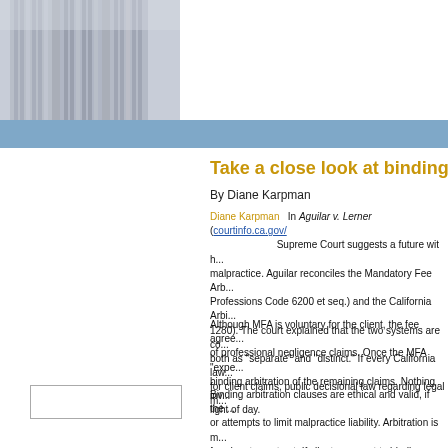[Figure (photo): Photo of classical stone columns (courthouse or government building pillars), cropped to left portion of header]
Take a close look at binding arbit...
By Diane Karpman
Diane Karpman   In Aguilar v. Lerner (courtinfo.ca.gov/... Supreme Court suggests a future with... malpractice. Aguilar reconciles the Mandatory Fee Arb... Professions Code 6200 et seq.) and the California Arb... 1280). The court explained that the two systems are co... both as "separate" and "distinct." If every California law... for client claims, public decisional law regarding legal m...
Although MFA is voluntary for the client, the fee agree... of professional negligence claims. Once the MFA "expe... binding arbitration of the remaining claims. Nothing inv... light of day.
Binding arbitration clauses are ethical and valid, if the ... or attempts to limit malpractice liability. Arbitration is m... freedom to contract. If clients consent to binding arbitra... like anyone else's, must be held to the fire.